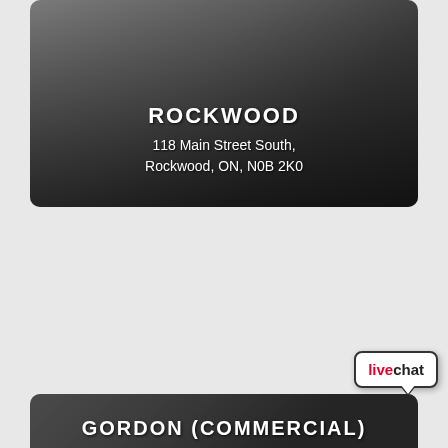[Figure (photo): Storefront photograph of Rockwood branch location with dark overlay. Shows a commercial building facade.]
ROCKWOOD
118 Main Street South, Rockwood, ON, N0B 2K0
[Figure (logo): Live chat button widget with speech bubble shape. Text reads 'livechat' with 'live' in red and 'chat' in black.]
GORDON (COMMERCIAL)